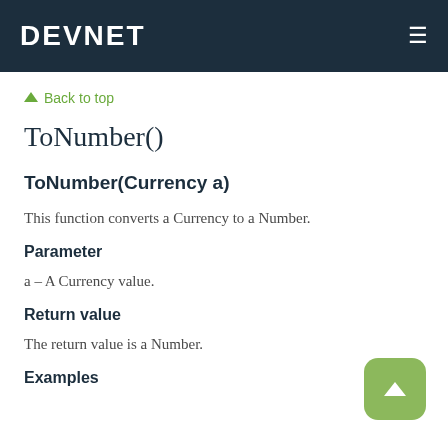DEVNET
↑ Back to top
ToNumber()
ToNumber(Currency a)
This function converts a Currency to a Number.
Parameter
a – A Currency value.
Return value
The return value is a Number.
Examples